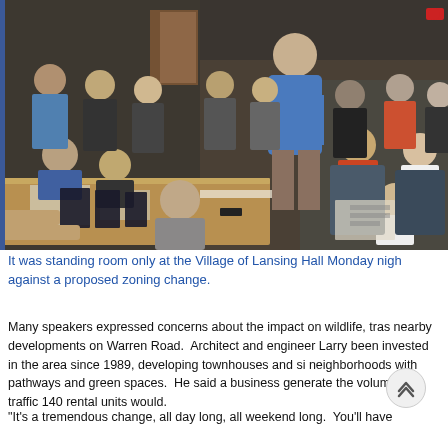[Figure (photo): A packed room at the Village of Lansing Hall during a public meeting on Monday night. Many residents are seated and standing, with a man in a blue shirt walking near a table at the front. A wooden conference table is visible in the foreground with papers and items on it.]
It was standing room only at the Village of Lansing Hall Monday night against a proposed zoning change.
Many speakers expressed concerns about the impact on wildlife, tras nearby developments on Warren Road.  Architect and engineer Larry been invested in the area since 1989, developing townhouses and si neighborhoods with pathways and green spaces.  He said a business generate the volume of traffic 140 rental units would.
"It's a tremendous change, all day long, all weekend long.  You'll have